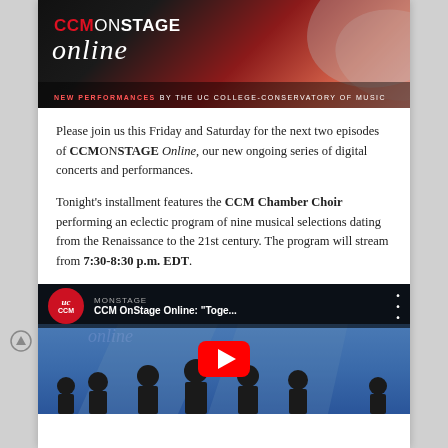[Figure (logo): CCM OnStage Online banner with red and black gradient background, 'CCM ON STAGE' text in red/white uppercase, 'online' in white italic script, and subtitle 'NEW PERFORMANCES BY THE UC COLLEGE-CONSERVATORY OF MUSIC']
Please join us this Friday and Saturday for the next two episodes of CCMONSTAGE Online, our new ongoing series of digital concerts and performances.
Tonight's installment features the CCM Chamber Choir performing an eclectic program of nine musical selections dating from the Renaissance to the 21st century. The program will stream from 7:30-8:30 p.m. EDT.
[Figure (screenshot): YouTube video thumbnail showing CCM OnStage Online: 'Toge...' with UC/CCM logo circle in red, choir members in black wearing masks on a blue stage background, red YouTube play button in center]